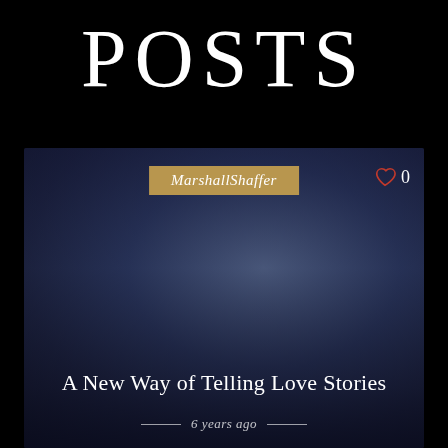POSTS
[Figure (photo): Dark blue-toned atmospheric photo of a couple in bed, used as article card background. Overlaid with author badge 'MarshallShaffer', a heart icon with count '0', article title 'A New Way of Telling Love Stories', and date '6 years ago'.]
MarshallShaffer
0
A New Way of Telling Love Stories
6 years ago